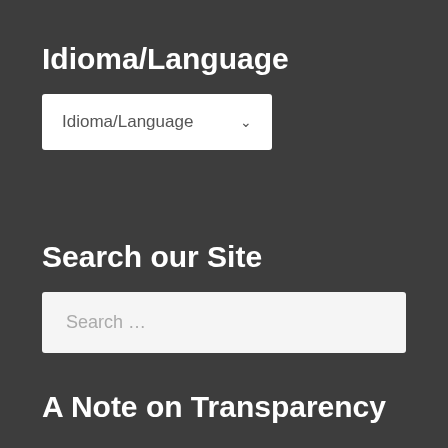Idioma/Language
[Figure (screenshot): Dropdown selector with label 'Idioma/Language' and a chevron arrow indicating a select menu]
Search our Site
[Figure (screenshot): Search input field with placeholder text 'Search ...']
A Note on Transparency